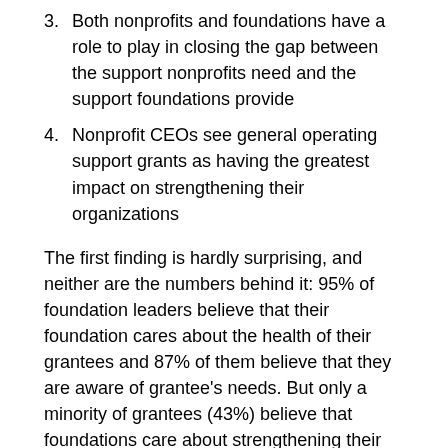3. Both nonprofits and foundations have a role to play in closing the gap between the support nonprofits need and the support foundations provide
4. Nonprofit CEOs see general operating support grants as having the greatest impact on strengthening their organizations
The first finding is hardly surprising, and neither are the numbers behind it: 95% of foundation leaders believe that their foundation cares about the health of their grantees and 87% of them believe that they are aware of grantee's needs. But only a minority of grantees (43%) believe that foundations care about strengthening their organizations and most of them (58%) say that foundations don’t ask them what they need.
It seems trite to say that funders care about the health of their grantees. It is the grantees, after all, who execute the funder’s mission. Money may be an essential